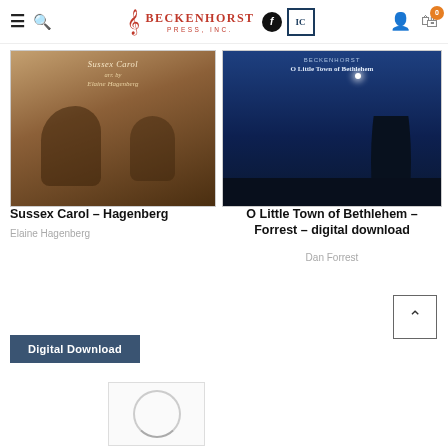Beckenhorst Press, Inc. — navigation bar with logo, search, account, and cart icons
[Figure (photo): Sussex Carol by Elaine Hagenberg — sepia-toned choral sheet music cover with nativity scene]
Sussex Carol – Hagenberg
Elaine Hagenberg
[Figure (photo): O Little Town of Bethlehem – Forrest – digital download — blue night-sky cover with star and tree silhouettes]
O Little Town of Bethlehem – Forrest – digital download
Dan Forrest
Digital Download
[Figure (photo): Loading spinner / placeholder for a third product image]